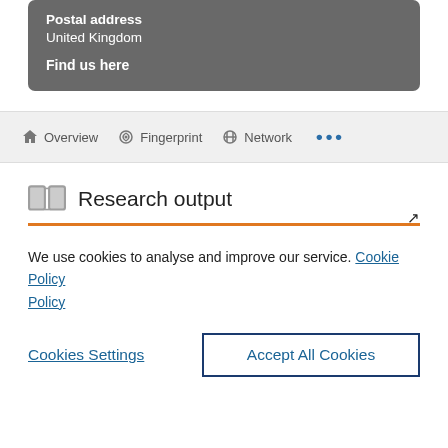Postal address
United Kingdom
Find us here
Overview   Fingerprint   Network   ...
Research output
We use cookies to analyse and improve our service. Cookie Policy
Cookies Settings
Accept All Cookies